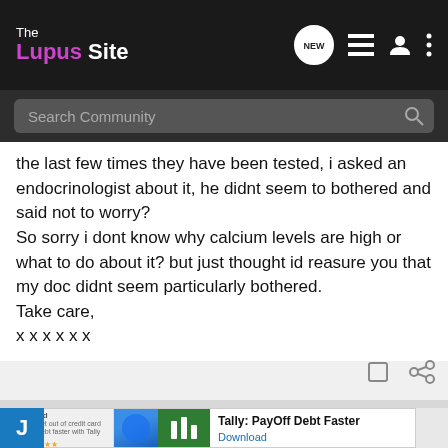The Lupus Site
the last few times they have been tested, i asked an endocrinologist about it, he didnt seem to bothered and said not to worry?
So sorry i dont know why calcium levels are high or what to do about it? but just thought id reasure you that my doc didnt seem particularly bothered.
Take care,
x x x x x x